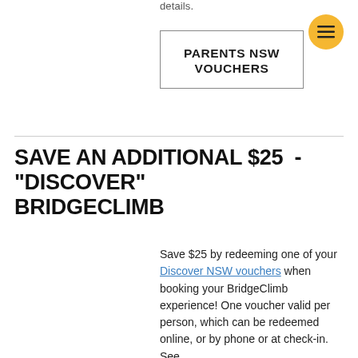details.
[Figure (other): Hamburger menu icon button in a golden/yellow circle, positioned top right]
PARENTS NSW VOUCHERS
SAVE AN ADDITIONAL $25 - "DISCOVER" BRIDGECLIMB
Save $25 by redeeming one of your Discover NSW vouchers when booking your BridgeClimb experience! One voucher valid per person, which can be redeemed online, or by phone or at check-in. See